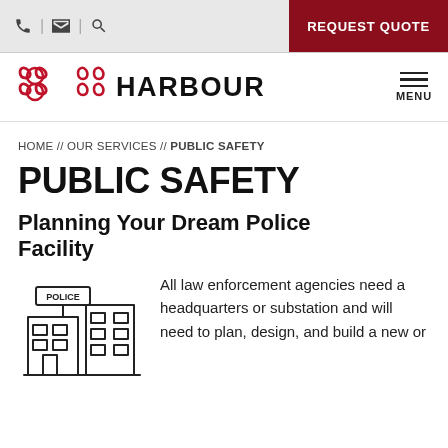📞 | ✉ | 🔍 | REQUEST QUOTE
[Figure (logo): Harbour logo with red quadrant icon and HARBOUR wordmark, plus hamburger menu icon with MENU label]
HOME // OUR SERVICES // PUBLIC SAFETY
PUBLIC SAFETY
Planning Your Dream Police Facility
[Figure (illustration): Line drawing of a police station building with POLICE sign and windows]
All law enforcement agencies need a headquarters or substation and will need to plan, design, and build a new or